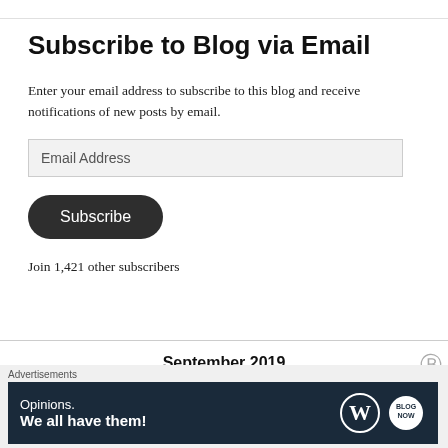Subscribe to Blog via Email
Enter your email address to subscribe to this blog and receive notifications of new posts by email.
Email Address
Subscribe
Join 1,421 other subscribers
September 2019
Advertisements
[Figure (advertisement): WordPress advertisement banner reading 'Opinions. We all have them!' with WordPress logo and another circular logo on dark navy background]